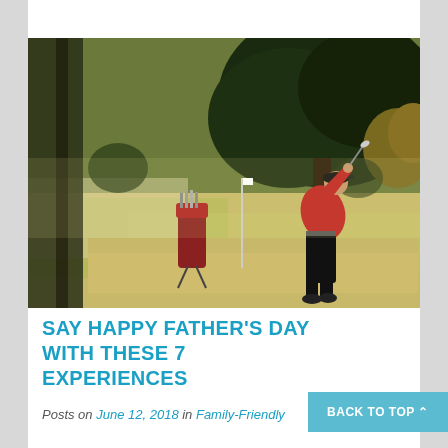[Figure (photo): A golfer in a red shirt and black pants swinging a golf club on a golf course, with dark trees in the background, green fairway, and a red golf bag on a stand nearby.]
SAY HAPPY FATHER'S DAY WITH THESE 7 EXPERIENCES
Posts on June 12, 2018 in Family-Friendly